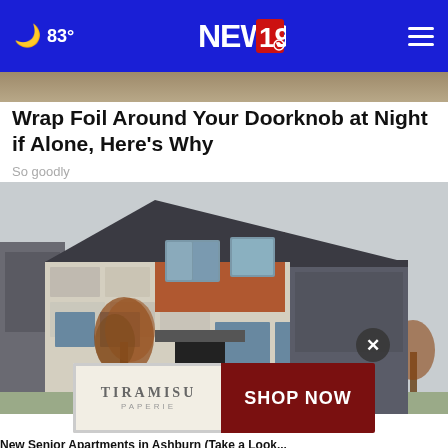83° NEWS 19
[Figure (photo): Top strip of a photo partially visible at top of page]
Wrap Foil Around Your Doorknob at Night if Alone, Here's Why
So goodly
[Figure (photo): Modern two-story house with stone and wood siding, brown trees in front, overcast sky background]
[Figure (screenshot): Tiramisu Paperie advertisement banner with SHOP NOW button on dark red background]
New Senior Apartments in Ashburn (Take a Look...